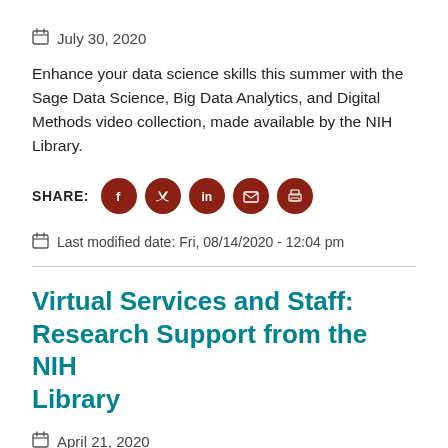July 30, 2020
Enhance your data science skills this summer with the Sage Data Science, Big Data Analytics, and Digital Methods video collection, made available by the NIH Library.
SHARE: [Facebook] [Twitter] [LinkedIn] [Email] [Print]
Last modified date: Fri, 08/14/2020 - 12:04 pm
Virtual Services and Staff: Research Support from the NIH Library
April 21, 2020